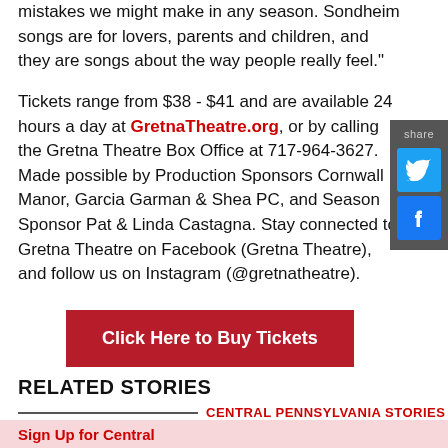mistakes we might make in any season. Sondheim songs are for lovers, parents and children, and they are songs about the way people really feel."
Tickets range from $38 - $41 and are available 24 hours a day at GretnaTheatre.org, or by calling the Gretna Theatre Box Office at 717-964-3627. Made possible by Production Sponsors Cornwall Manor, Garcia Garman & Shea PC, and Season Sponsor Pat & Linda Castagna. Stay connected to Gretna Theatre on Facebook (Gretna Theatre), and follow us on Instagram (@gretnatheatre).
[Figure (other): Social share sidebar with Twitter and Facebook icons]
Click Here to Buy Tickets
RELATED STORIES
CENTRAL PENNSYLVANIA STORIES
Sign Up for Central